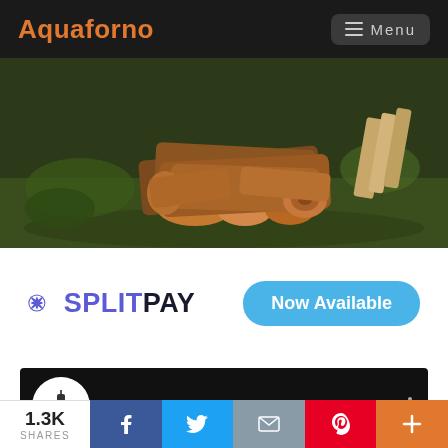Aquaforno | Menu
[Figure (photo): Pile of split firewood logs on green grass, outdoor setting]
[Figure (logo): SplitPay logo with snowflake/asterisk icon in purple, text 'SPLITPAY' in dark blue, and a blue rounded button 'Now Available']
[Figure (screenshot): YouTube video thumbnail showing Aquaforno II - Kitchen in a backpack... with channel icon and three-dot menu]
1.3K SHARES | Facebook | Twitter | Email | Pinterest | More